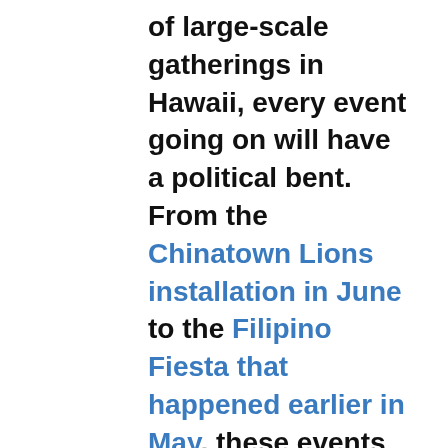of large-scale gatherings in Hawaii, every event going on will have a political bent. From the Chinatown Lions installation in June to the Filipino Fiesta that happened earlier in May, these events are main attractions for every candidate running for office, knowing full well that every event will have voters mulling about it. So for those going to Obon dances this year, keep in mind that you'll not be only eating the food, buying the hachimaki (鉢巻) or hapi coat, but you'll be gripping in your hand campaign literature that will be handed out at each of these events. So, this humble blogger would encourage you (safely) to attend, because you might get some face-to-face time with some of these candidates.